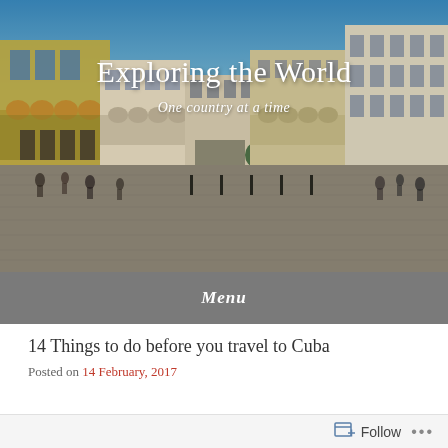[Figure (photo): Panoramic photo of a Cuban plaza (Plaza Vieja, Havana) with colonial-style buildings on all sides, people walking, cobblestone pavement, and blue sky. The blog title 'Exploring the World' and tagline 'One country at a time' are overlaid in white text.]
Exploring the World
One country at a time
Menu
14 Things to do before you travel to Cuba
Posted on 14 February, 2017
Follow ...